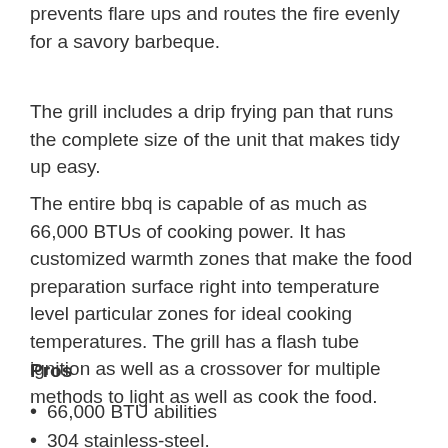prevents flare ups and routes the fire evenly for a savory barbeque.
The grill includes a drip frying pan that runs the complete size of the unit that makes tidy up easy.
The entire bbq is capable of as much as 66,000 BTUs of cooking power. It has customized warmth zones that make the food preparation surface right into temperature level particular zones for ideal cooking temperatures. The grill has a flash tube ignition as well as a crossover for multiple methods to light as well as cook the food.
Pros
66,000 BTU abilities
304 stainless-steel.